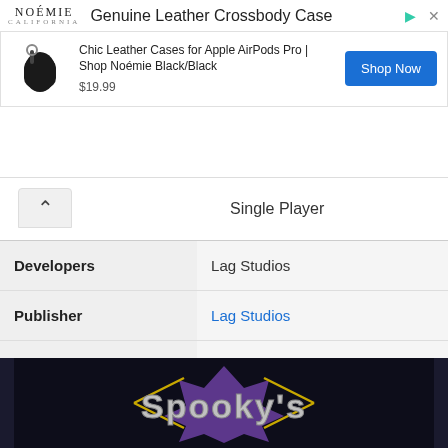[Figure (screenshot): Advertisement banner for Noémie Genuine Leather Crossbody Case. Shows logo, product image of AirPods case, description text 'Chic Leather Cases for Apple AirPods Pro | Shop Noémie Black/Black', price $19.99, and blue Shop Now button.]
Single Player
| Developers | Lag Studios |
| Publisher | Lag Studios |
| Genres | Indie game, Action game, Free to Play, Adventure |
| Category | PC Games>Adventure |
[Figure (screenshot): Game title screen showing 'Spooky's' text logo in silver/gray letters with purple and gold decorative elements on dark background.]